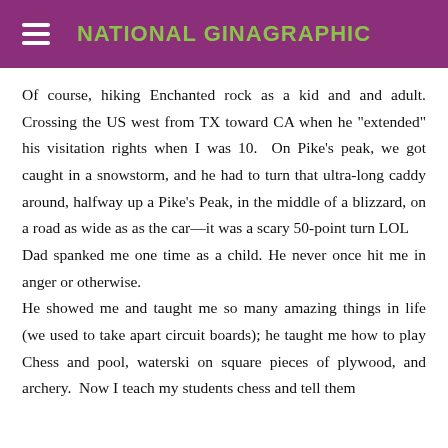NATIONAL GINAGRAPHIC
Of course, hiking Enchanted rock as a kid and and adult. Crossing the US west from TX toward CA when he "extended" his visitation rights when I was 10. On Pike's peak, we got caught in a snowstorm, and he had to turn that ultra-long caddy around, halfway up a Pike's Peak, in the middle of a blizzard, on a road as wide as as the car—it was a scary 50-point turn LOL
Dad spanked me one time as a child. He never once hit me in anger or otherwise.
He showed me and taught me so many amazing things in life (we used to take apart circuit boards); he taught me how to play Chess and pool, waterski on square pieces of plywood, and archery. Now I teach my students chess and tell them